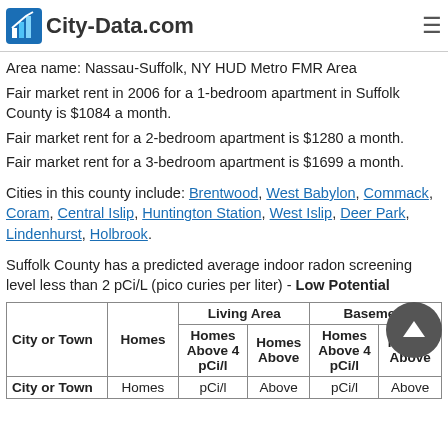City-Data.com
residents: 36.2 years old, American Indian residents: 35.6 years old, Asian residents: 36.3 years old, Hispanic or Latino residents: 30.7 years old, Other race residents: 30.7 years old)
Area name: Nassau-Suffolk, NY HUD Metro FMR Area
Fair market rent in 2006 for a 1-bedroom apartment in Suffolk County is $1084 a month.
Fair market rent for a 2-bedroom apartment is $1280 a month.
Fair market rent for a 3-bedroom apartment is $1699 a month.
Cities in this county include: Brentwood, West Babylon, Commack, Coram, Central Islip, Huntington Station, West Islip, Deer Park, Lindenhurst, Holbrook.
Suffolk County has a predicted average indoor radon screening level less than 2 pCi/L (pico curies per liter) - Low Potential
| City or Town | Homes | Living Area - Homes Above 4 pCi/l | Living Area - Homes Above | Basement - Homes Above 4 pCi/l | Basement - Homes Above |
| --- | --- | --- | --- | --- | --- |